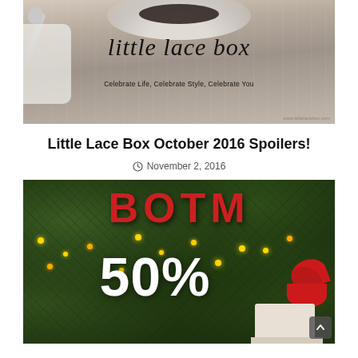[Figure (photo): Little Lace Box banner image with coffee/food bowls, spoons on a rustic wooden background, with cursive text 'little lace box' and tagline 'Celebrate Life, Celebrate Style, Celebrate You']
Little Lace Box October 2016 Spoilers!
November 2, 2016
[Figure (photo): BOTM (Book of the Month) promotional image with red letters B, O, T, M arranged among pine branches with Christmas lights and gifts, showing '50% OFF' text in white]